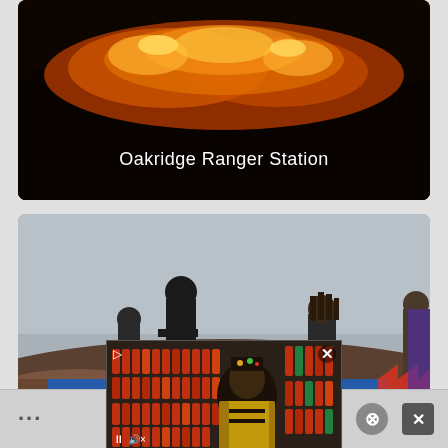[Figure (photo): Dark photo showing a building or ranger station with fire and orange flames visible in the background at night. White text overlay reads 'Oakridge Ranger Station'.]
[Figure (photo): Grainy video still of protesters standing on elevated ground. A banner partially visible reads 'NO COMPROMISE IN [DEFENSE OF] OUR [EARTH]'. Figures are wearing dark clothing and hooded masks.]
[Figure (screenshot): Video advertisement overlay showing a man in a yellow and black jacket standing in a store with shelves of hot sauce bottles. Has play/pause controls and a close (X) button.]
[Figure (screenshot): Bottom navigation/toolbar area showing dots/ellipsis and two close buttons (circle X and square X).]